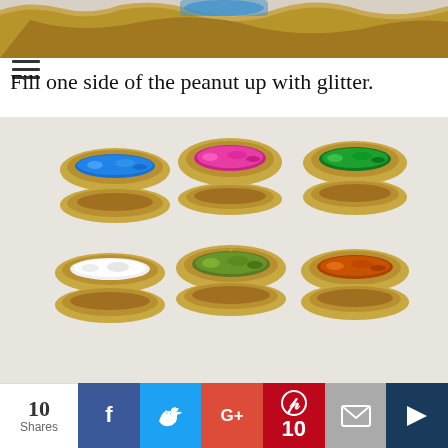[Figure (photo): Top portion of a gold-painted peanut shell partially visible, cropped at top of page]
Fill one side of the peanut up with glitter.
[Figure (photo): Six pairs of gold-painted peanut shells open, each top shell filled with different colored glitter: blue, pink/magenta, green, white, olive/green, orange/brown. Bottom shells are empty. Arranged in a 3x2 grid on a white background.]
[Figure (photo): Bottom portion of a gold-painted peanut shell, cropped at bottom of page]
10 Shares | Facebook | Twitter | Google+ | Pinterest 10 | Email | Flag